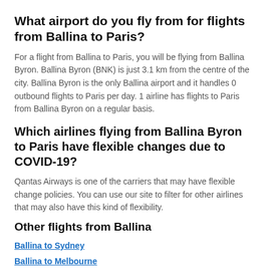What airport do you fly from for flights from Ballina to Paris?
For a flight from Ballina to Paris, you will be flying from Ballina Byron. Ballina Byron (BNK) is just 3.1 km from the centre of the city. Ballina Byron is the only Ballina airport and it handles 0 outbound flights to Paris per day. 1 airline has flights to Paris from Ballina Byron on a regular basis.
Which airlines flying from Ballina Byron to Paris have flexible changes due to COVID-19?
Qantas Airways is one of the carriers that may have flexible change policies. You can use our site to filter for other airlines that may also have this kind of flexibility.
Other flights from Ballina
Ballina to Sydney
Ballina to Melbourne